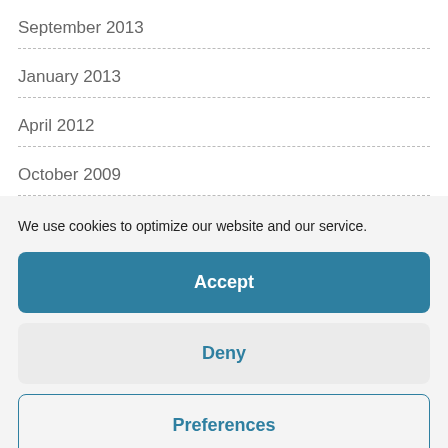September 2013
January 2013
April 2012
October 2009
We use cookies to optimize our website and our service.
Accept
Deny
Preferences